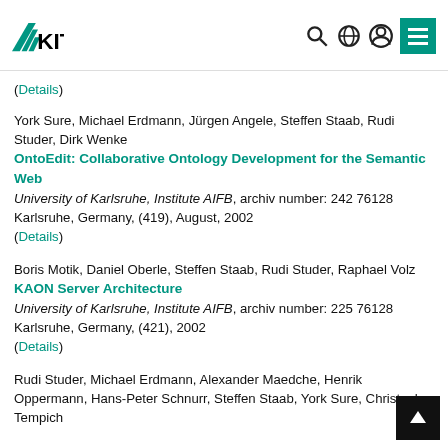[Figure (logo): KIT logo with teal fan icon and bold KIT text, plus navigation icons (search, globe, person, menu)]
(Details)
York Sure, Michael Erdmann, Jürgen Angele, Steffen Staab, Rudi Studer, Dirk Wenke
OntoEdit: Collaborative Ontology Development for the Semantic Web
University of Karlsruhe, Institute AIFB, archiv number: 242 76128 Karlsruhe, Germany, (419), August, 2002
(Details)
Boris Motik, Daniel Oberle, Steffen Staab, Rudi Studer, Raphael Volz
KAON Server Architecture
University of Karlsruhe, Institute AIFB, archiv number: 225 76128 Karlsruhe, Germany, (421), 2002
(Details)
Rudi Studer, Michael Erdmann, Alexander Maedche, Henrik Oppermann, Hans-Peter Schnurr, Steffen Staab, York Sure, Christoph Tempich